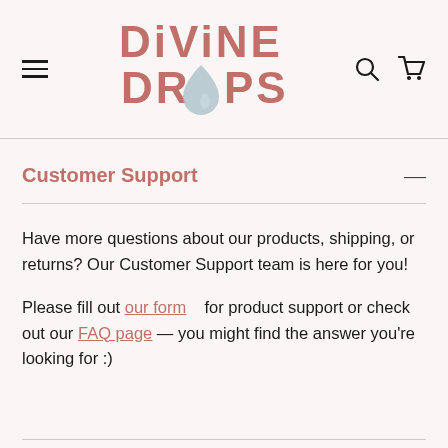[Figure (logo): Divine Drops logo with a water drop replacing the 'O' in DROPS, in terracotta/rose color]
Customer Support
Have more questions about our products, shipping, or returns? Our Customer Support team is here for you!
Please fill out our form for product support or check out our FAQ page — you might find the answer you're looking for :)